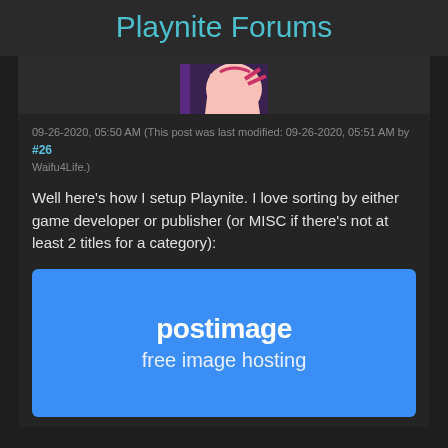Playnite Forums
[Figure (photo): Partial avatar image - anime style character with purple and pink colors]
09-26-2020, 05:50 AM (This post was last modified: 09-26-2020, 05:51 AM by Waifu4Life.) #26
Well here's how I setup Playnite. I love sorting by either game developer or publisher (or MISC if there's not at least 2 titles for a category):
[Figure (screenshot): Postimage free image hosting placeholder - blue background with white text reading 'postimage' and 'free image hosting']